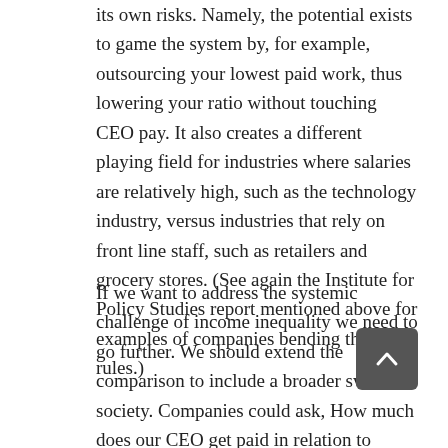its own risks. Namely, the potential exists to game the system by, for example, outsourcing your lowest paid work, thus lowering your ratio without touching CEO pay. It also creates a different playing field for industries where salaries are relatively high, such as the technology industry, versus industries that rely on front line staff, such as retailers and grocery stores. (See again the Institute for Policy Studies report mentioned above for examples of companies bending the rules.)
If we want to address the systemic challenge of income inequality we need to go further. We should extend the comparison to include a broader swath of society. Companies could ask, How much does our CEO get paid in relation to median household income? NEI has been using a multiple of median household income as a